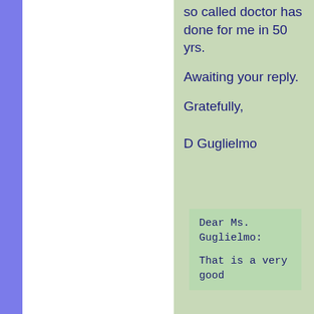so called doctor has done for me in 50 yrs.
Awaiting your reply.
Gratefully,
D Guglielmo
Dear Ms. Guglielmo:
That is a very good